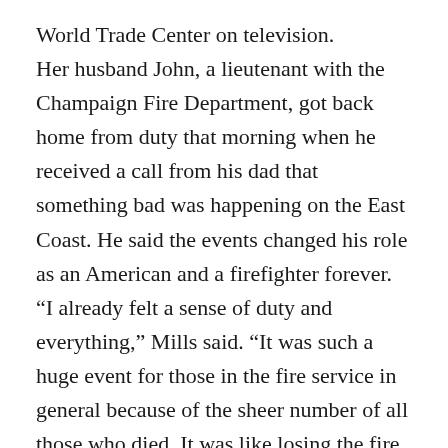World Trade Center on television. Her husband John, a lieutenant with the Champaign Fire Department, got back home from duty that morning when he received a call from his dad that something bad was happening on the East Coast. He said the events changed his role as an American and a firefighter forever. “I already felt a sense of duty and everything,” Mills said. “It was such a huge event for those in the fire service in general because of the sheer number of all those who died. It was like losing the fire departments in Champaign, Urbana, Danville and Decatur all at once.” A few members of the Champaign and Urbana fire departments gave speeches Sunday. Other events